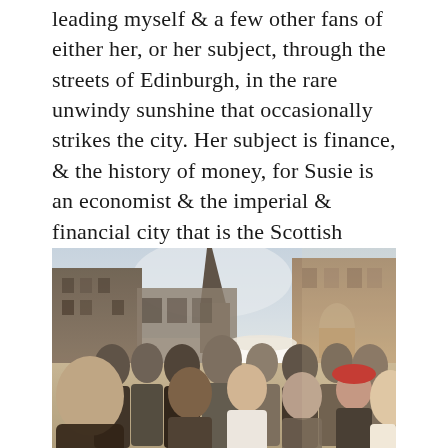leading myself & a few other fans of either her, or her subject, through the streets of Edinburgh, in the rare unwindy sunshine that occasionally strikes the city. Her subject is finance, & the history of money, for Susie is an economist & the imperial & financial city that is the Scottish capital seems the perfect place to conduct her ‘Money Walks’ comedy lectures.
[Figure (photo): A crowd of people standing on a busy sunny street in Edinburgh, with historic stone buildings lining both sides. A white market umbrella is visible in the background. A person wearing a red hat stands out in the crowd.]